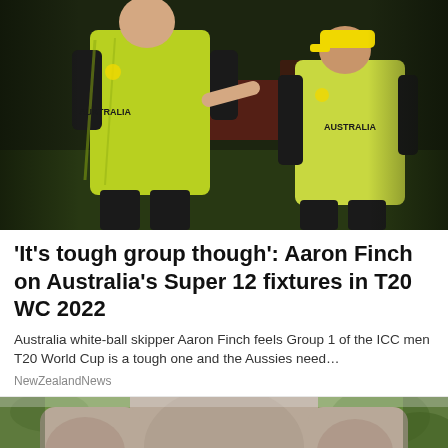[Figure (photo): Two Australian cricket players in yellow-green 'AUSTRALIA' jerseys on a cricket field, one pointing at the other]
'It's tough group though': Aaron Finch on Australia's Super 12 fixtures in T20 WC 2022
Australia white-ball skipper Aaron Finch feels Group 1 of the ICC men T20 World Cup is a tough one and the Aussies need…
NewZealandNews
[Figure (photo): Close-up of a muscular person in a grey/brown t-shirt outdoors with green foliage in background]